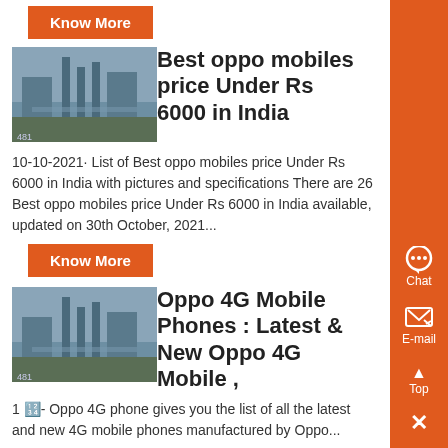Know More
[Figure (photo): Industrial/construction site thumbnail image]
Best oppo mobiles price Under Rs 6000 in India
10-10-2021· List of Best oppo mobiles price Under Rs 6000 in India with pictures and specifications There are 26 Best oppo mobiles price Under Rs 6000 in India available, updated on 30th October, 2021...
Know More
[Figure (photo): Industrial/construction site thumbnail image]
Oppo 4G Mobile Phones : Latest & New Oppo 4G Mobile ,
1 🔢- Oppo 4G phone gives you the list of all the latest and new 4G mobile phones manufactured by Oppo...
Know More
Prev: crushing and screening of aggregate equipments
Next: brandedn raymond mills in indonesia